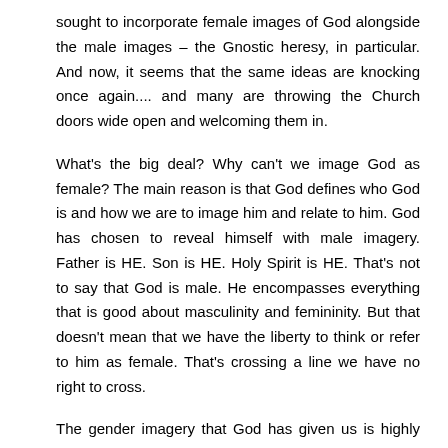sought to incorporate female images of God alongside the male images – the Gnostic heresy, in particular. And now, it seems that the same ideas are knocking once again.... and many are throwing the Church doors wide open and welcoming them in.
What's the big deal? Why can't we image God as female? The main reason is that God defines who God is and how we are to image him and relate to him. God has chosen to reveal himself with male imagery. Father is HE. Son is HE. Holy Spirit is HE. That's not to say that God is male. He encompasses everything that is good about masculinity and femininity. But that doesn't mean that we have the liberty to think or refer to him as female. That's crossing a line we have no right to cross.
The gender imagery that God has given us is highly important. It reflects critical truths about the nature of the Trinity. Calling him "she" violates his character and important imagery about the nature of our relationship to him. As C.S. Lewis observes,
Common sense, disregarding the discomfort, or even the horror, which the idea of turning all our